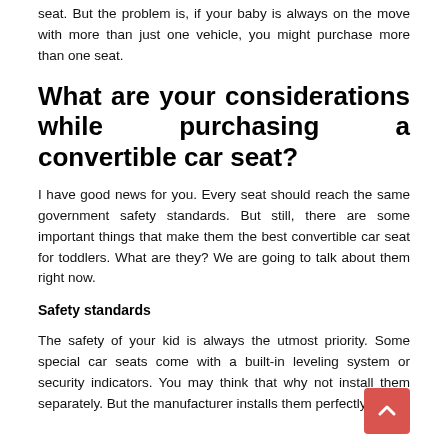seat. But the problem is, if your baby is always on the move with more than just one vehicle, you might purchase more than one seat.
What are your considerations while purchasing a convertible car seat?
I have good news for you. Every seat should reach the same government safety standards. But still, there are some important things that make them the best convertible car seat for toddlers. What are they? We are going to talk about them right now.
Safety standards
The safety of your kid is always the utmost priority. Some special car seats come with a built-in leveling system or security indicators. You may think that why not install them separately. But the manufacturer installs them perfectly.